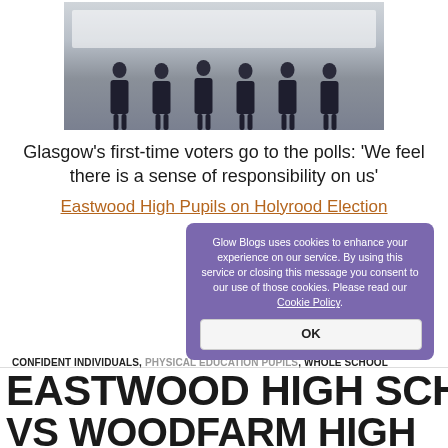[Figure (photo): Group photo of school students in dark blazers with blue accents standing in a classroom]
Glasgow’s first-time voters go to the polls: ‘We feel there is a sense of responsibility on us’
Eastwood High Pupils on Holyrood Election
Glow Blogs uses cookies to enhance your experience on our service. By using this service or closing this message you consent to our use of those cookies. Please read our Cookie Policy.
CONFIDENT INDIVIDUALS, PHYSICAL EDUCATION PUPILS, WHOLE SCHOOL
EASTWOOD HIGH SCHOOL VS WOODFARM HIGH